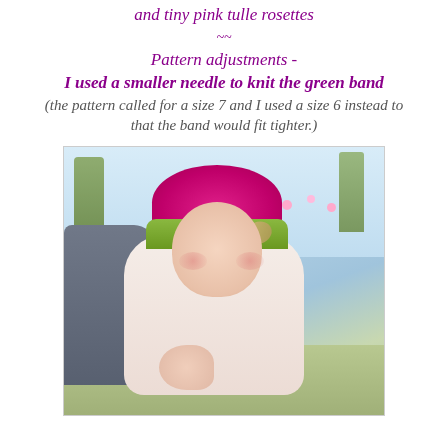and tiny pink tulle rosettes
~~
Pattern adjustments -
I used a smaller needle to knit the green band
(the pattern called for a size 7 and I used a size 6 instead to that the band would fit tighter.)
[Figure (photo): A smiling baby wearing a pink fuzzy knit hat with a green band and bow, sitting outdoors]